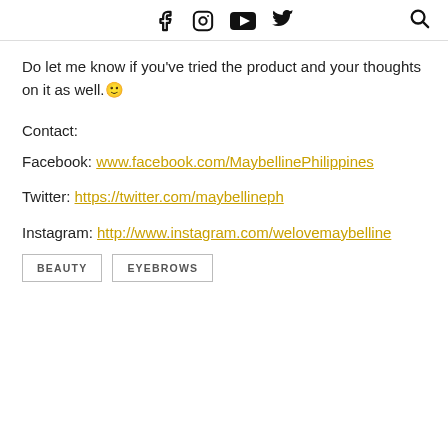Social media icons: Facebook, Instagram, YouTube, Twitter, Search
Do let me know if you’ve tried the product and your thoughts on it as well.😊
Contact:
Facebook: www.facebook.com/MaybellinePhilippines
Twitter: https://twitter.com/maybellineph
Instagram: http://www.instagram.com/welovemaybelline
BEAUTY   EYEBROWS